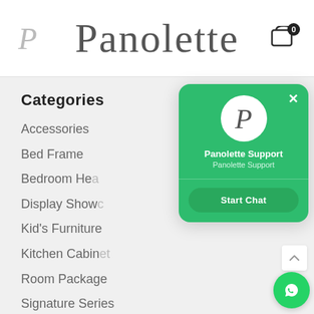[Figure (logo): Panolette brand header with P logo on left, Panolette text in center serif font, cart icon with badge '0' on right]
Categories
Accessories
Bed Frame
Bedroom Hea...
Display Showc...
Kid's Furniture
Kitchen Cabinet
Room Package
Signature Series
Study Table
[Figure (screenshot): Green chat support modal with Panolette P logo circle, 'Panolette Support' title and subtitle, close X button, and 'Start Chat' button]
[Figure (other): WhatsApp chat button (green circle with phone icon) in bottom right corner]